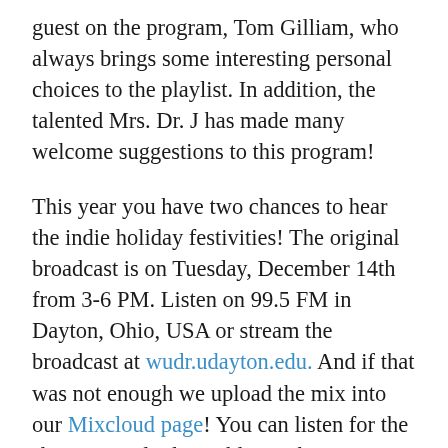guest on the program, Tom Gilliam, who always brings some interesting personal choices to the playlist. In addition, the talented Mrs. Dr. J has made many welcome suggestions to this program!
This year you have two chances to hear the indie holiday festivities! The original broadcast is on Tuesday, December 14th from 3-6 PM. Listen on 99.5 FM in Dayton, Ohio, USA or stream the broadcast at wudr.udayton.edu. And if that was not enough we upload the mix into our Mixcloud page! You can listen for the show in easily digestible one hour servings beginning the next day! We are very excited play new and classic indie holiday songs for you. Pour yourself a cup of coco, set up the